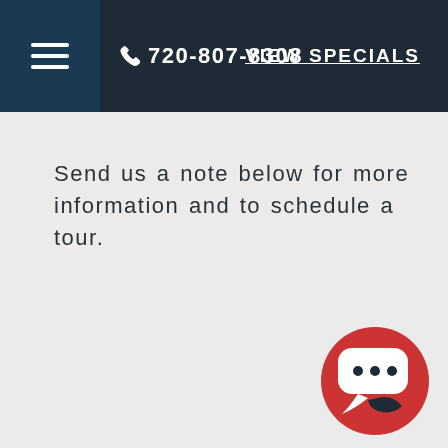☰  720-807-8308   VIEW SPECIALS
Send us a note below for more information and to schedule a tour.
[Figure (illustration): Red circular chat bubble icon with three dots inside a white speech bubble, with a dark crescent shape at the bottom right]